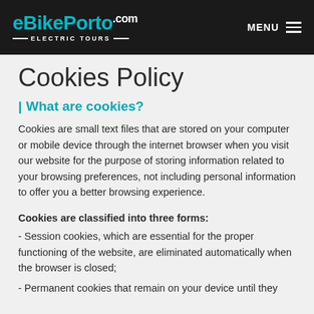eBikePorto.com ELECTRIC TOURS | MENU
Cookies Policy
| What are cookies?
Cookies are small text files that are stored on your computer or mobile device through the internet browser when you visit our website for the purpose of storing information related to your browsing preferences, not including personal information to offer you a better browsing experience.
Cookies are classified into three forms:
- Session cookies, which are essential for the proper functioning of the website, are eliminated automatically when the browser is closed;
- Permanent cookies that remain on your device until they